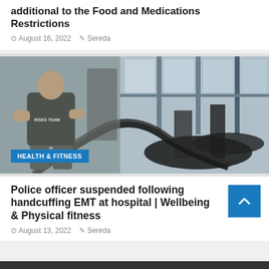additional to the Food and Medications Restrictions
August 16, 2022   Sereda
[Figure (photo): A man in a black t-shirt exercising with battle ropes in a gym, with treadmills and large windows in the background. A blue badge reads HEALTH & FITNESS.]
Police officer suspended following handcuffing EMT at hospital | Wellbeing & Physical fitness
August 13, 2022   Sereda